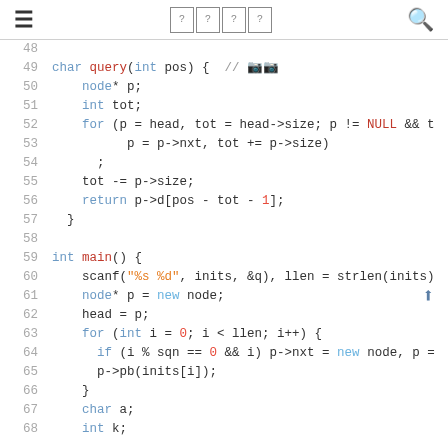≡  [?][?][?][?]  🔍
[Figure (screenshot): Code editor screenshot showing C++ source code lines 48-68 with syntax highlighting. Line 49 defines char query(int pos), lines 50-57 contain a for loop returning a character. Lines 59-68 show int main() with scanf, node allocation, and a for loop.]